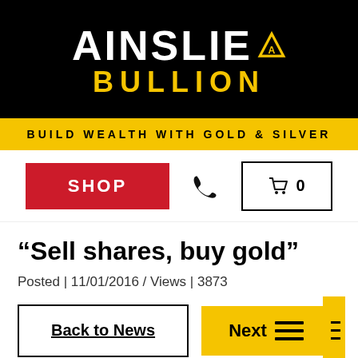[Figure (logo): Ainslie Bullion logo — white bold 'AINSLIE' text with a gold triangle 'A' symbol, and gold 'BULLION' text below, on black background]
BUILD WEALTH WITH GOLD & SILVER
[Figure (screenshot): Navigation bar with red SHOP button, phone icon button, and cart icon with count 0]
“Sell shares, buy gold”
Posted | 11/01/2016 / Views | 3873
Back to News
Next